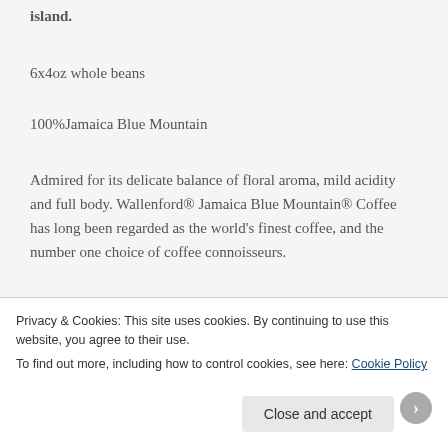island.
6x4oz whole beans
100%Jamaica Blue Mountain
Admired for its delicate balance of floral aroma, mild acidity and full body. Wallenford® Jamaica Blue Mountain® Coffee has long been regarded as the world's finest coffee, and the number one choice of coffee connoisseurs.
It is one of the oldest and most renowned coffee
Privacy & Cookies: This site uses cookies. By continuing to use this website, you agree to their use.
To find out more, including how to control cookies, see here: Cookie Policy
Close and accept